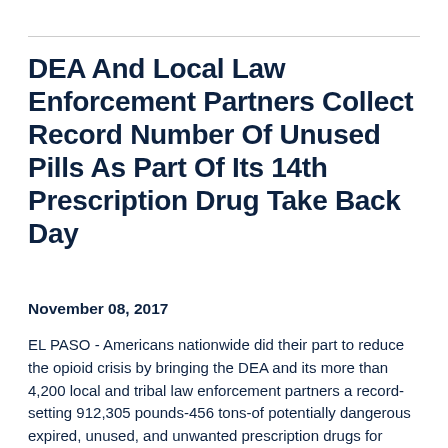DEA And Local Law Enforcement Partners Collect Record Number Of Unused Pills As Part Of Its 14th Prescription Drug Take Back Day
November 08, 2017
EL PASO - Americans nationwide did their part to reduce the opioid crisis by bringing the DEA and its more than 4,200 local and tribal law enforcement partners a record-setting 912,305 pounds-456 tons-of potentially dangerous expired, unused, and unwanted prescription drugs for disposal at more than 5,300 collection sites. That...